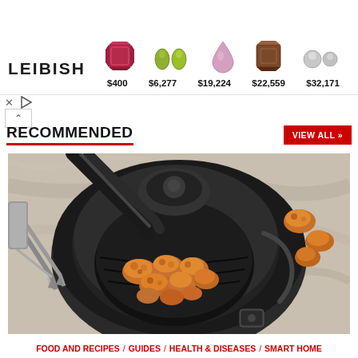[Figure (screenshot): LEIBISH jewelry advertisement banner showing colored gemstones with prices: $400, $6,277, $19,224, $22,559, $32,171]
RECOMMENDED
[Figure (photo): Air fryer with fried chicken pieces inside, tongs on the left, marble surface background]
FOOD AND RECIPES / GUIDES / HEALTH & DISEASES / SMART HOME